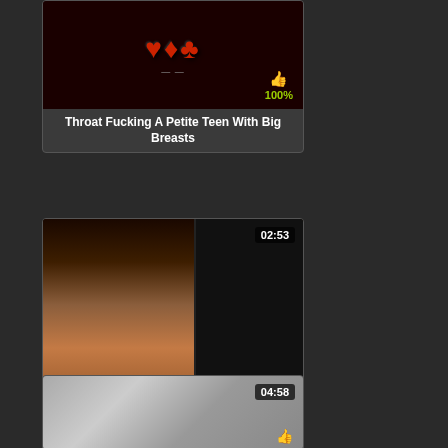[Figure (screenshot): Video thumbnail with dark red background and stylized logo text, rating 100%]
Throat Fucking A Petite Teen With Big Breasts
[Figure (screenshot): Video thumbnail showing a person, duration 02:53, rating 100%]
Teen big cock 26cm cumshot / Novinho 26cm
[Figure (screenshot): Video thumbnail showing light gray/fabric texture, duration 04:58]